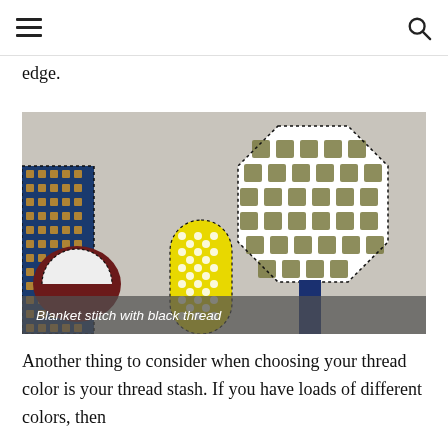≡  🔍
edge.
[Figure (photo): Close-up photo of fabric appliqué pieces with blanket stitch edging using black thread. Shows tree and building shapes made from patterned fabrics (blue geometric print, yellow dotted fabric, checkered olive/white fabric) on a light linen background. Caption overlay reads: 'Blanket stitch with black thread']
Blanket stitch with black thread
Another thing to consider when choosing your thread color is your thread stash. If you have loads of different colors, then